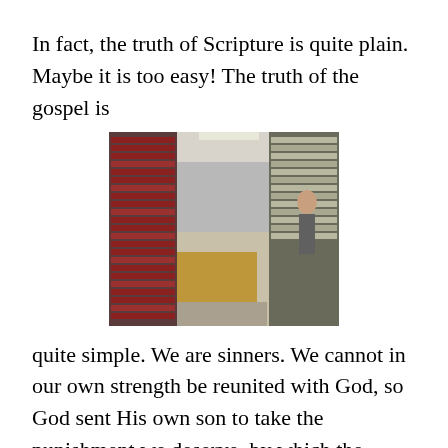In fact, the truth of Scripture is quite plain. Maybe it is too easy! The truth of the gospel is
[Figure (photo): Interior photograph of what appears to be a vintage computer or telecommunications facility with rows of equipment, panels, and racks lining the walls and a person visible in the background.]
quite simple. We are sinners. We cannot in our own strength be reunited with God, so God sent His own son to take the punishment we deserve, by which the affront to His holiness is dealt with and we can be restored to God. And even at this point God applies this truth through the amazing person of the Holy Spirit. In short, we have a triune God dealing with our deepest needs. All we need to do is believe and accept the gift He offers.Now how